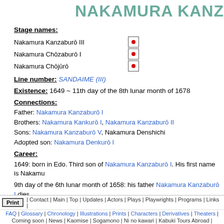NAKAMURA KANZ
Stage names:
Nakamura Kanzaburō III
Nakamura Chōzaburō I
Nakamura Chōjūrō
Line number: SANDAIME (III)
Existence: 1649 ~ 11th day of the 8th lunar month of 1678
Connections:
Father: Nakamura Kanzaburō I
Brothers: Nakamura Kankurō I, Nakamura Kanzaburō II
Sons: Nakamura Kanzaburō V, Nakamura Denshichi
Adopted son: Nakamura Denkurō I
Career:
1649: born in Edo. Third son of Nakamura Kanzaburō I. His first name is Nakamu
9th day of the 6th lunar month of 1658: his father Nakamura Kanzaburō I dies.
Print | Contact | Main | Top | Updates | Actors | Plays | Playwrights | Programs | Links | FAQ | Glossary | Chronology | Illustrations | Prints | Characters | Derivatives | Theaters | Coming soon | News | Kaomise | Sogamono | Ni no kawari | Kabuki Tours Abroad |